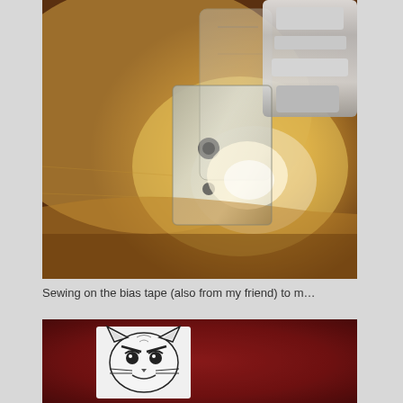[Figure (photo): Close-up photograph of a sewing machine needle and presser foot on a sewing machine, with bright light reflecting off the metal needle plate and transparent plastic presser foot. The fabric surface appears light-colored and smooth.]
Sewing on the bias tape (also from my friend) to m…
[Figure (photo): Photograph of a dark red/burgundy fabric with a white square patch showing a cartoon angry cat or wildcat face (mascot style) in black and white outline.]